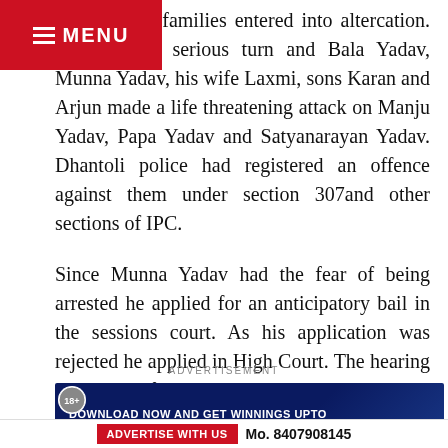MENU
this the two families entered into altercation. This took a serious turn and Bala Yadav, Munna Yadav, his wife Laxmi, sons Karan and Arjun made a life threatening attack on Manju Yadav, Papa Yadav and Satyanarayan Yadav. Dhantoli police had registered an offence against them under section 307and other sections of IPC.
Since Munna Yadav had the fear of being arrested he applied for an anticipatory bail in the sessions court. As his application was rejected he applied in High Court. The hearing was held before Judge Vinay Deshpande.
ADVERTISEMENT
[Figure (infographic): Advertisement banner: DOWNLOAD NOW AND GET WINNINGS UPTO 100X AND 500X JOIN NOW, with 18+ Play Responsibly logo and gaming imagery]
[Figure (logo): LS games logo on black background]
ADVERTISE WITH US  Mo. 8407908145